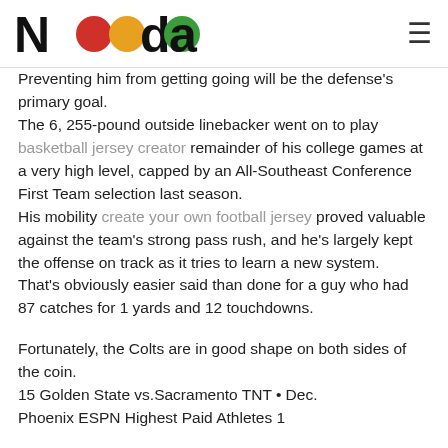Nada [logo]
Preventing him from getting going will be the defense's primary goal.
The 6, 255-pound outside linebacker went on to play basketball jersey creator remainder of his college games at a very high level, capped by an All-Southeast Conference First Team selection last season.
His mobility create your own football jersey proved valuable against the team's strong pass rush, and he's largely kept the offense on track as it tries to learn a new system.
That's obviously easier said than done for a guy who had 87 catches for 1 yards and 12 touchdowns.
Fortunately, the Colts are in good shape on both sides of the coin.
15 Golden State vs.Sacramento TNT • Dec.
Phoenix ESPN Highest Paid Athletes 1